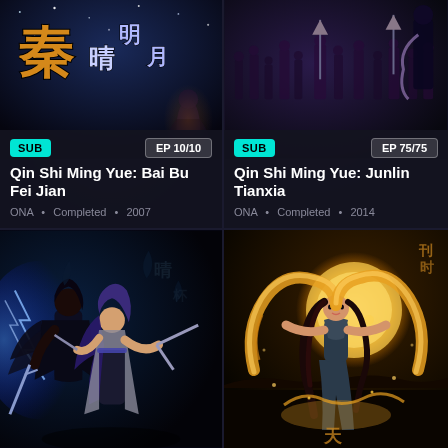[Figure (screenshot): Anime streaming service grid showing 4 show cards. Top-left: Qin Shi Ming Yue: Bai Bu Fei Jian with SUB badge and EP 10/10, ONA, Completed, 2007. Top-right: Qin Shi Ming Yue: Junlin Tianxia with SUB badge and EP 75/75, ONA, Completed, 2014. Bottom-left: Action scene with two warriors in blue/silver tones. Bottom-right: Fantasy scene with female figure and golden dragon swirl.]
SUB
EP 10/10
Qin Shi Ming Yue: Bai Bu Fei Jian
ONA • Completed • 2007
SUB
EP 75/75
Qin Shi Ming Yue: Junlin Tianxia
ONA • Completed • 2014